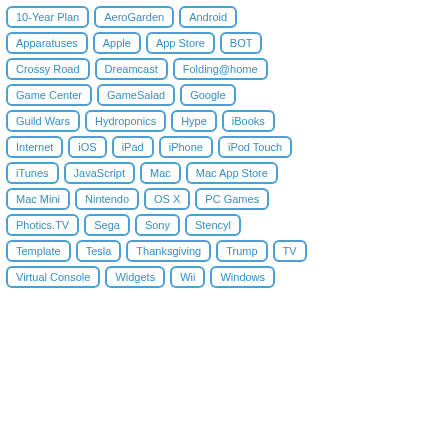10-Year Plan
AeroGarden
Android
Apparatuses
Apple
App Store
BOT
Crossy Road
Dreamcast
Folding@home
Game Center
GameSalad
Google
Guild Wars
Hydroponics
Hype
iBooks
Internet
iOS
iPad
iPhone
iPod Touch
iTunes
JavaScript
Mac
Mac App Store
Mac Mini
Nintendo
OS X
PC Games
Photics.TV
Sega
Sony
Stencyl
Template
Tesla
Thanksgiving
Trump
TV
Virtual Console
Widgets
Wii
Windows